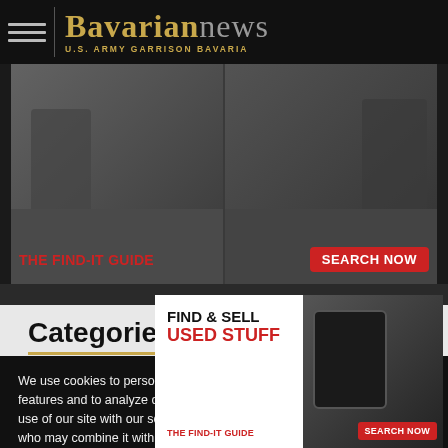Bavarian news — U.S. ARMY GARRISON BAVARIA
[Figure (advertisement): Find-It Guide advertisement banner with two photos of people and 'THE FIND-IT GUIDE' and 'SEARCH NOW' buttons]
Categories
We use cookies to personalize content and ads, to provide social media features and to analyze our traffic. We also share information about your use of our site with our social media advertising and analytics partners who may combine it with other information...
[Figure (advertisement): Find & Sell Used Stuff — THE FIND-IT GUIDE popup ad with SEARCH NOW button]